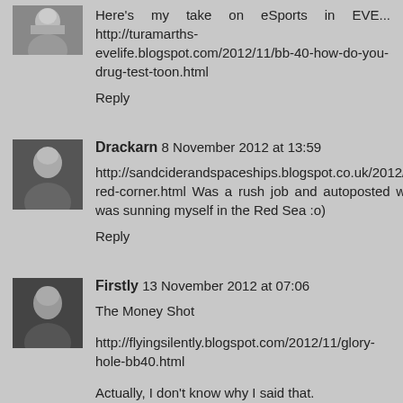[Figure (photo): Avatar photo of a bearded man]
Here's my take on eSports in EVE... http://turamarths-evelife.blogspot.com/2012/11/bb-40-how-do-you-drug-test-toon.html
Reply
[Figure (photo): Avatar photo of Drackarn]
Drackarn  8 November 2012 at 13:59
http://sandciderandspaceships.blogspot.co.uk/2012/10/in-red-corner.html  Was a rush job and autoposted whilst I was sunning myself in the Red Sea :o)
Reply
[Figure (photo): Avatar photo of Firstly]
Firstly  13 November 2012 at 07:06
The Money Shot
http://flyingsilently.blogspot.com/2012/11/glory-hole-bb40.html
Actually, I don't know why I said that.